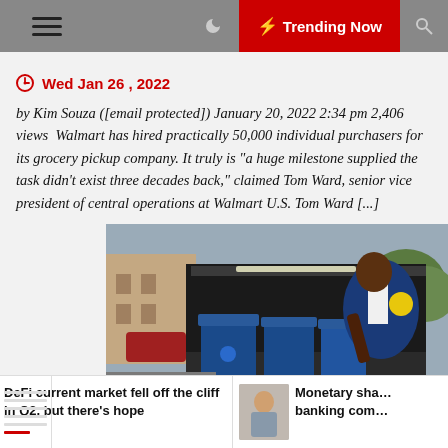Trending Now
Wed Jan 26 , 2022
by Kim Souza ([email protected]) January 20, 2022 2:34 pm 2,406 views  Walmart has hired practically 50,000 individual purchasers for its grocery pickup company. It truly is "a huge milestone supplied the task didn't exist three decades back," claimed Tom Ward, senior vice president of central operations at Walmart U.S. Tom Ward [...]
[Figure (photo): Walmart employee in blue vest loading blue Walmart grocery bags into the trunk of a car]
DeFi current market fell off the cliff in Q2, but there's hope
Monetary sha... banking com...